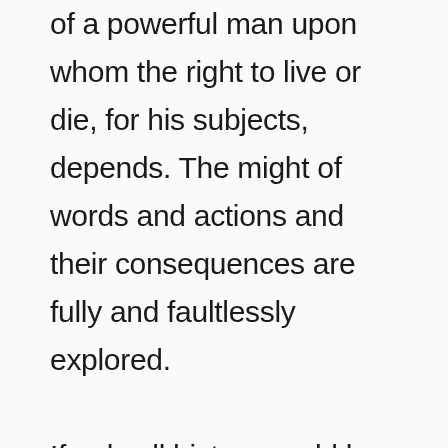of a powerful man upon whom the right to live or die, for his subjects, depends. The might of words and actions and their consequences are fully and faultlessly explored. If only all history could be so impassioned and lively! In evoking a well-known period through its prominent and beloved characters, Penman has not only personalised but breathed life into the past and brought it into